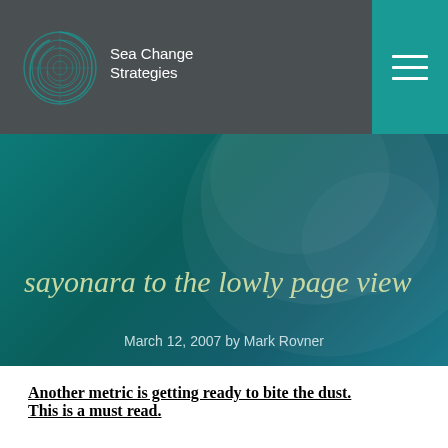Sea Change Strategies
sayonara to the lowly page view
March 12, 2007 by Mark Rovner
Another metric is getting ready to bite the dust. This is a must read.